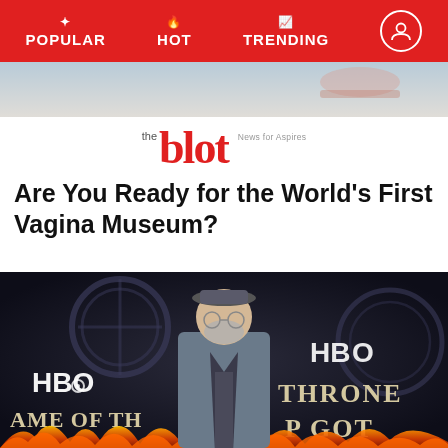POPULAR | HOT | TRENDING
[Figure (photo): Top image strip showing partial photo]
[Figure (logo): The Blot magazine logo in red]
Are You Ready for the World's First Vagina Museum?
[Figure (photo): Man in grey suit and cap standing at Game of Thrones HBO premiere red carpet backdrop]